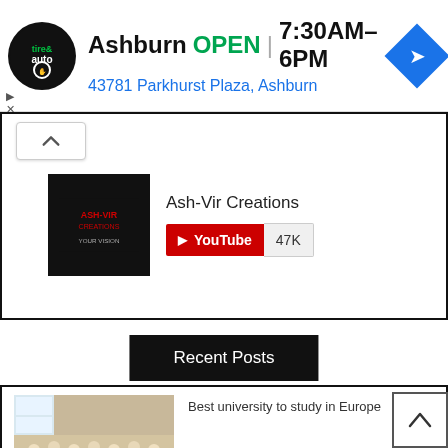[Figure (infographic): Ad banner for Virginia Tire & Auto Ashburn location showing logo, OPEN status, hours 7:30AM–6PM, address 43781 Parkhurst Plaza Ashburn, and a blue navigation arrow icon]
[Figure (infographic): Widget box with chevron up button and Ash-Vir Creations YouTube channel subscribe widget showing 47K subscribers]
Recent Posts
[Figure (photo): Students in white uniforms/coats seated in a classroom]
Best university to study in Europe